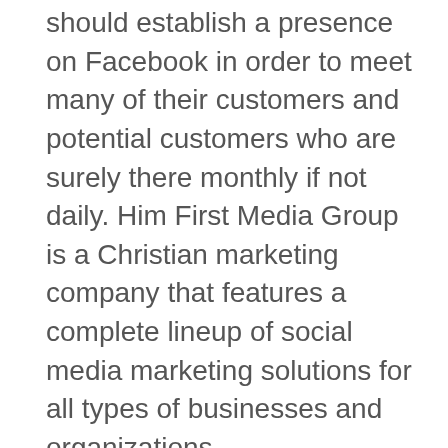should establish a presence on Facebook in order to meet many of their customers and potential customers who are surely there monthly if not daily. Him First Media Group is a Christian marketing company that features a complete lineup of social media marketing solutions for all types of businesses and organizations.
Did you know that most people access Facebook at least eight times each day? Your business should be there to engage with potential customers. Use the platform to effectively market your business's products or